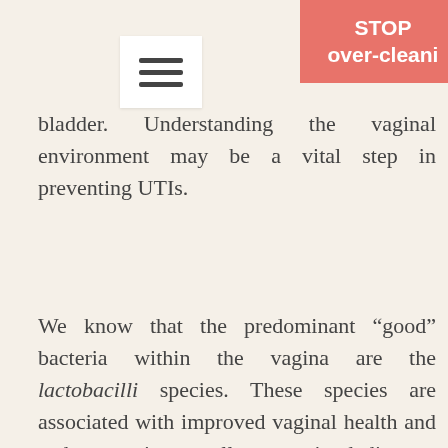[Figure (other): Hamburger menu icon (three horizontal lines) inside a white rounded rectangle box]
[Figure (other): Red/salmon banner in top right corner reading STOP over-cleaning]
bladder. Understanding the vaginal environment may be a vital step in preventing UTIs.
We know that the predominant “good” bacteria within the vagina are the lactobacilli species. These species are associated with improved vaginal health and a decrease in sexually transmitted diseases (STDs). (Stapleton, 2016).
In a study of over 300 sexually active women, 71% had lactobacilli species and the most common were L. crispatus and jensenii. These two species, more than any